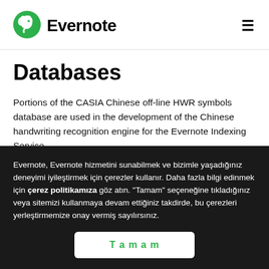Evernote
Databases
Portions of the CASIA Chinese off-line HWR symbols database are used in the development of the Chinese handwriting recognition engine for the Evernote Indexing Service.
C.-L. Liu, F. Yin, D.-H. Wang, Q.-F. Wang, CASIA online
Evernote, Evernote hizmetini sunabilmek ve bizimle yaşadığınız deneyimi iyileştirmek için çerezler kullanır. Daha fazla bilgi edinmek için çerez politikamıza göz atın. "Tamam" seçeneğine tıkladığınız veya sitemizi kullanmaya devam ettiğiniz takdirde, bu çerezleri yerleştirmemize onay vermiş sayılırsınız.
Tamam